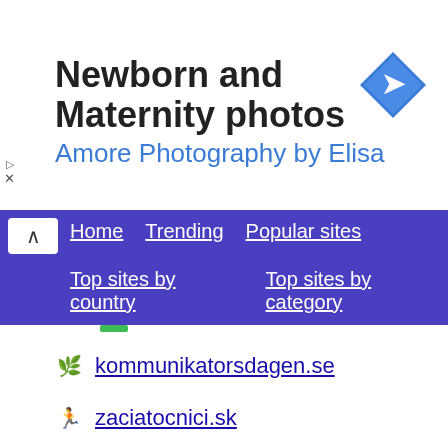[Figure (other): Advertisement banner for Newborn and Maternity photos by Amore Photography by Elisa with a blue navigation arrow icon]
Home | Trending | Popular sites | Top sites by country | Top sites by category
kommunikatorsdagen.se
zaciatocnici.sk
swissfintrust.ch
bomik.ru
helsinkipuolimaraton.fi
tchat-rencontre-gratuit.fr
skyn.fo
cargoboard.de
addonbiz.com